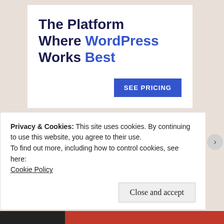[Figure (other): Advertisement banner: 'The Platform Where WordPress Works Best' with a blue 'SEE PRICING' button]
REPORT THIS AD
Share this:
Twitter
Facebook
Privacy & Cookies: This site uses cookies. By continuing to use this website, you agree to their use.
To find out more, including how to control cookies, see here:
Cookie Policy
Close and accept